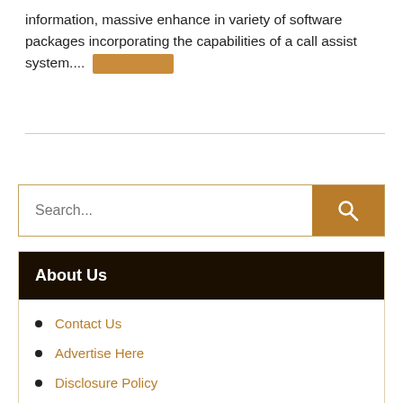information, massive enhance in variety of software packages incorporating the capabilities of a call assist system.... [redacted]
Read More »
[Figure (other): Horizontal divider line]
[Figure (other): Search bar with text input placeholder 'Search...' and a brown search button with magnifying glass icon]
About Us
Contact Us
Advertise Here
Disclosure Policy
Sitemap